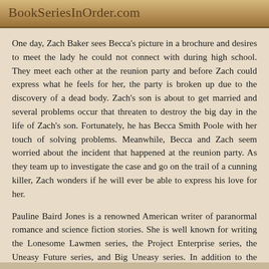BookSeriesInOrder.com
One day, Zach Baker sees Becca's picture in a brochure and desires to meet the lady he could not connect with during high school. They meet each other at the reunion party and before Zach could express what he feels for her, the party is broken up due to the discovery of a dead body. Zach's son is about to get married and several problems occur that threaten to destroy the big day in the life of Zach's son. Fortunately, he has Becca Smith Poole with her touch of solving problems. Meanwhile, Becca and Zach seem worried about the incident that happened at the reunion party. As they team up to investigate the case and go on the trail of a cunning killer, Zach wonders if he will ever be able to express his love for her.
Pauline Baird Jones is a renowned American writer of paranormal romance and science fiction stories. She is well known for writing the Lonesome Lawmen series, the Project Enterprise series, the Uneasy Future series, and Big Uneasy series. In addition to the book series